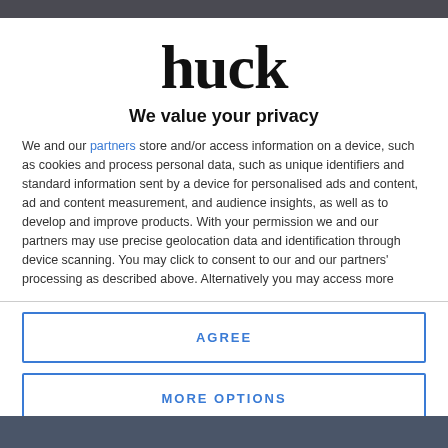[Figure (logo): Huck magazine logo in large bold serif-style black text]
We value your privacy
We and our partners store and/or access information on a device, such as cookies and process personal data, such as unique identifiers and standard information sent by a device for personalised ads and content, ad and content measurement, and audience insights, as well as to develop and improve products. With your permission we and our partners may use precise geolocation data and identification through device scanning. You may click to consent to our and our partners' processing as described above. Alternatively you may access more
AGREE
MORE OPTIONS